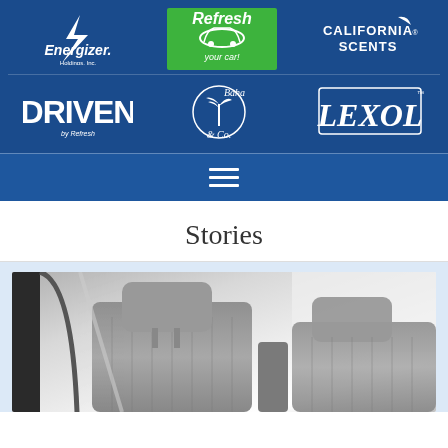[Figure (logo): Header banner with brand logos: Energizer Holdings Inc, Refresh Your Car, California Scents, Driven by Refresh, Bahama & Co, Lexol]
Navigation bar with hamburger menu icon
Stories
[Figure (photo): Interior of a car showing the rear seats with grey fabric upholstery and headrests, window visible on left]